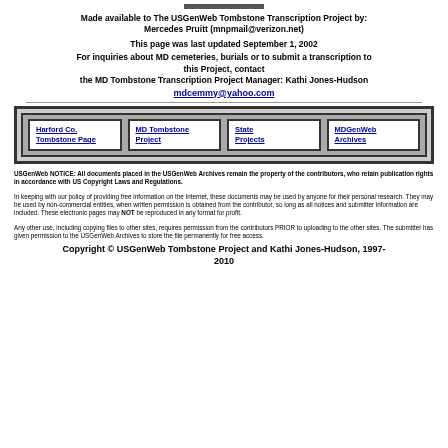Made available to The USGenWeb Tombstone Transcription Project by: Mercedes Pruitt (mnpmail@verizon.net)
This page was last updated September 1, 2002
For inquiries about MD cemeteries, burials or to submit a transcription to this Project, contact the MD Tombstone Transcription Project Manager: Kathi Jones-Hudson mdcemmy@yahoo.com
[Figure (other): Navigation bar with four linked boxes: Harford Co. Tombstone Page, MD Tombstone Project, State Projects, MDGenWeb Archives]
USGenWeb NOTICE: All documents placed in the USGenWeb Archives remain the property of the contributors, who retain publication rights in accordance with US Copyright Laws and Regulations. In keeping with our policy of providing free information on the Internet, these documents may be used by anyone for their personal research. They may be used by non-commercial entities, when written permission is obtained from the contributor, so long as all notices and submitter information are included. These electronic pages may NOT be reproduced in any format for profit. Any other use, including copying files to other sites, requires permission from the contributors PRIOR to uploading to the other sites. The submitter has given permission to the USGenWeb Archives to store the file permanently for free access.
Copyright © USGenWeb Tombstone Project and Kathi Jones-Hudson, 1997-2010